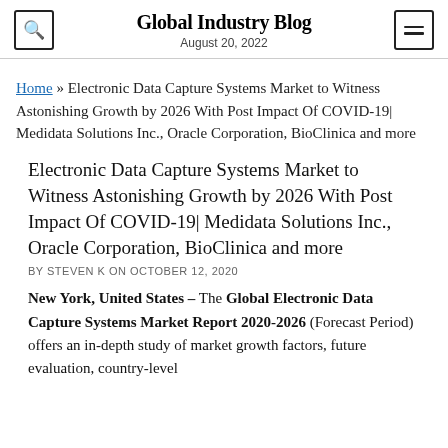Global Industry Blog
August 20, 2022
Home » Electronic Data Capture Systems Market to Witness Astonishing Growth by 2026 With Post Impact Of COVID-19| Medidata Solutions Inc., Oracle Corporation, BioClinica and more
Electronic Data Capture Systems Market to Witness Astonishing Growth by 2026 With Post Impact Of COVID-19| Medidata Solutions Inc., Oracle Corporation, BioClinica and more
BY STEVEN K ON OCTOBER 12, 2020
New York, United States – The Global Electronic Data Capture Systems Market Report 2020-2026 (Forecast Period) offers an in-depth study of market growth factors, future evaluation, country-level